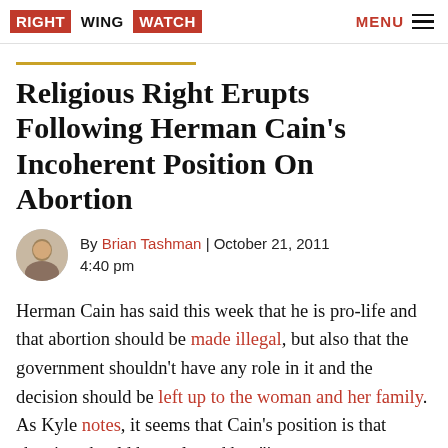RIGHT WING WATCH   MENU
Religious Right Erupts Following Herman Cain's Incoherent Position On Abortion
By Brian Tashman | October 21, 2011 4:40 pm
Herman Cain has said this week that he is pro-life and that abortion should be made illegal, but also that the government shouldn't have any role in it and the decision should be left up to the woman and her family. As Kyle notes, it seems that Cain's position is that abortion should be outlawed but "in